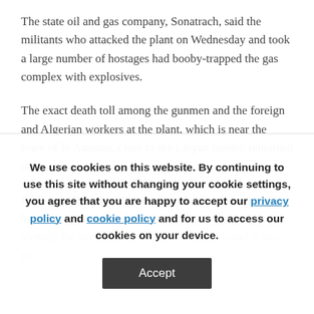The state oil and gas company, Sonatrach, said the militants who attacked the plant on Wednesday and took a large number of hostages had booby-trapped the gas complex with explosives.
The exact death toll among the gunmen and the foreign and Algerian workers at the plant, which is near the town of In Amenas, close to the Libyan border, remained unclear.
Earlier on Saturday, Algerian special forces found 15 burned bodies at the plant. Efforts were underway to identify the bodies, the source told Reuters, and it was not clear how they had died.
We use cookies on this website. By continuing to use this site without changing your cookie settings, you agree that you are happy to accept our privacy policy and cookie policy and for us to access our cookies on your device.
Accept
British and fewer than 10 employees at the plant were unaccounted for.